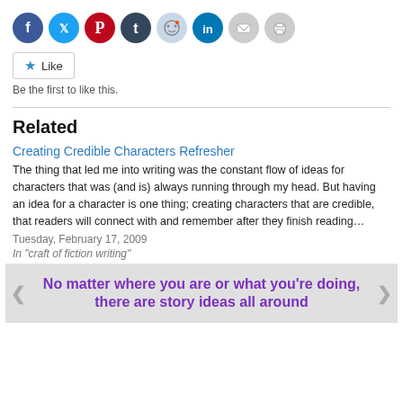[Figure (infographic): Social media sharing icons: Facebook (blue), Twitter (cyan), Pinterest (red), Tumblr (dark navy), Reddit (light blue), LinkedIn (dark blue), Email (gray), Print (gray)]
Like
Be the first to like this.
Related
Creating Credible Characters Refresher
The thing that led me into writing was the constant flow of ideas for characters that was (and is) always running through my head. But having an idea for a character is one thing; creating characters that are credible, that readers will connect with and remember after they finish reading…
Tuesday, February 17, 2009
In "craft of fiction writing"
[Figure (infographic): Promotional banner image with purple bold text: "No matter where you are or what you're doing, there are story ideas all around"]